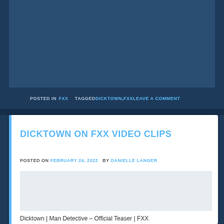[Figure (screenshot): Dark blue video player placeholder area at the top of the page]
POSTED IN FXX   TAGGED DICKTOWN, FXXLEAVE A COMMENT
DICKTOWN ON FXX VIDEO CLIPS
POSTED ON FEBRUARY 24, 2022   BY DANIELLE LANGER
[Figure (screenshot): Light gray video player placeholder area]
Dicktown | Man Detective – Official Teaser | FXX